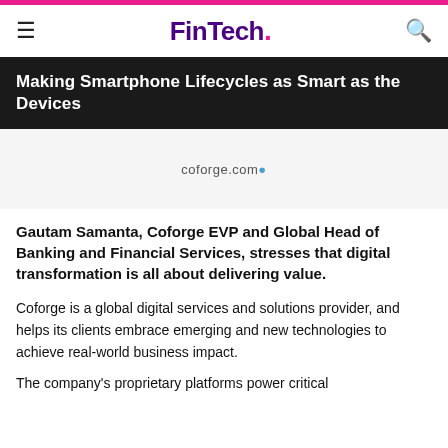FinTech.
Making Smartphone Lifecycles as Smart as the Devices
[Figure (logo): coforge.com logo/URL displayed as advertisement placeholder]
Gautam Samanta, Coforge EVP and Global Head of Banking and Financial Services, stresses that digital transformation is all about delivering value.
Coforge is a global digital services and solutions provider, and helps its clients embrace emerging and new technologies to achieve real-world business impact.
The company's proprietary platforms power critical